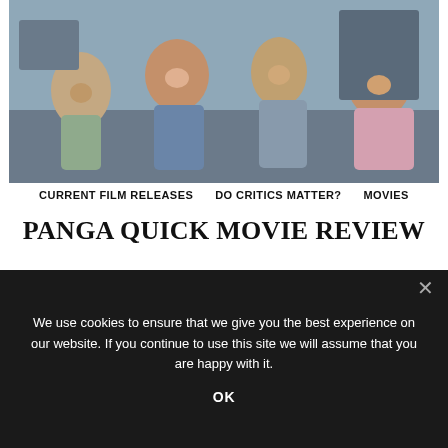[Figure (photo): A family of four sitting together on a couch, laughing and smiling. Includes an older woman, a young man, a woman, and a child.]
CURRENT FILM RELEASES   DO CRITICS MATTER?   MOVIES
PANGA QUICK MOVIE REVIEW
[Figure (photo): Outdoor scene with tall antenna or tower structures against a blue sky.]
We use cookies to ensure that we give you the best experience on our website. If you continue to use this site we will assume that you are happy with it.
OK